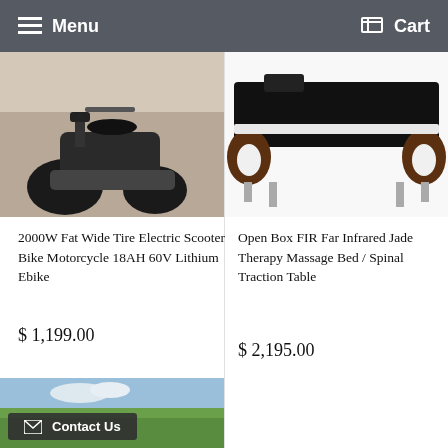Menu  Cart
[Figure (photo): Electric scooter bike with fat wide tires, black frame, parked indoors]
[Figure (photo): FIR Far Infrared Jade Therapy Massage Bed / Spinal Traction Table, black cushion with dark wood accents]
2000W Fat Wide Tire Electric Scooter Bike Motorcycle 18AH 60V Lithium Ebike
$ 1,199.00
Open Box FIR Far Infrared Jade Therapy Massage Bed / Spinal Traction Table
$ 2,195.00
[Figure (photo): Outdoor landscape photo with blue sky and green hills, partially visible]
Contact Us